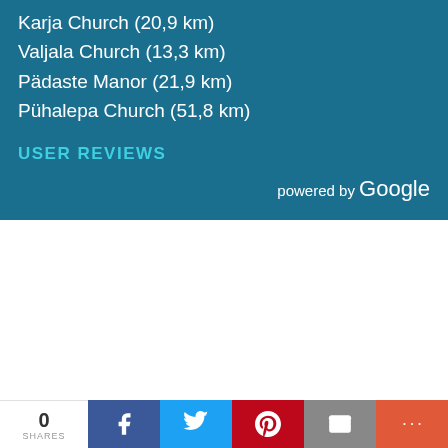Karja Church (20,9 km)
Valjala Church (13,3 km)
Pädaste Manor (21,9 km)
Pühalepa Church (51,8 km)
USER REVIEWS
powered by Google
0 SHARES | f | Twitter | Pinterest | Email | More